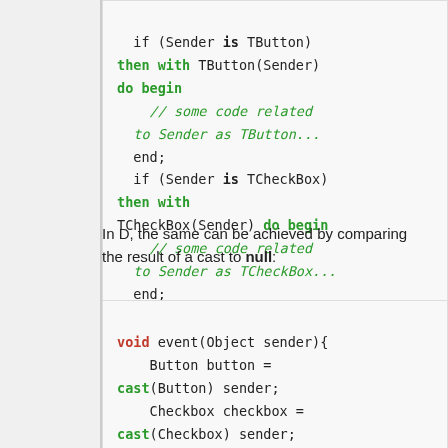[Figure (other): Pascal/Delphi code block showing if-is type checking with TButton and TCheckBox using 'with ... do begin' pattern]
In D, the same can be achieved by comparing the result of a cast to null:
[Figure (other): D language code block showing void event(Object sender) with cast(Button) and cast(Checkbox) type checks]